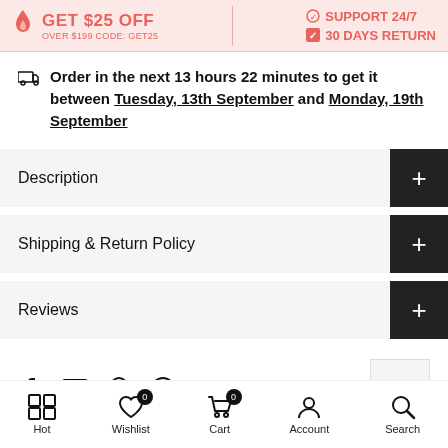[Figure (screenshot): E-commerce promotional banner with pink background showing GET $25 OFF OVER $199 CODE: GET25 on the left, and SUPPORT 24/7 with 30 DAYS RETURN on the right]
Order in the next 13 hours 22 minutes to get it between Tuesday, 13th September and Monday, 19th September
Description
Shipping & Return Policy
Reviews
[Figure (infographic): Social share icons: Facebook, Email, Pinterest, WhatsApp, and a scroll-to-top button]
Hot | Wishlist (0) | Cart (0) | Account | Search